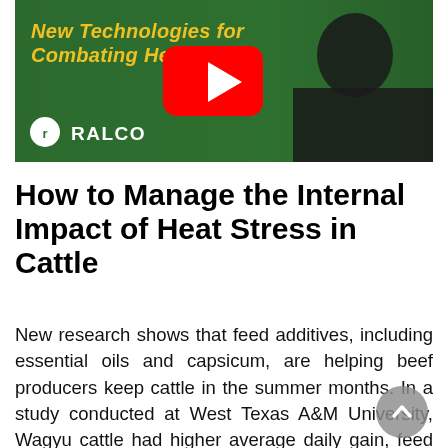[Figure (screenshot): YouTube video thumbnail showing a man in a dark shirt against a green background with yellow italic text 'New Technologies for Combating He...s', a YouTube play button in red/white, and the RALCO logo in white at the bottom left.]
How to Manage the Internal Impact of Heat Stress in Cattle
New research shows that feed additives, including essential oils and capsicum, are helping beef producers keep cattle in the summer months. In a study conducted at West Texas A&M University, Wagyu cattle had higher average daily gain, feed intake and